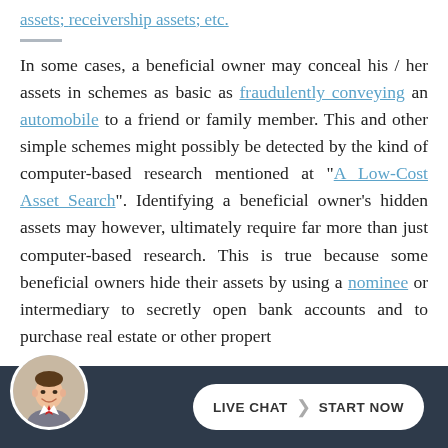assets; receivership assets; etc.
In some cases, a beneficial owner may conceal his / her assets in schemes as basic as fraudulently conveying an automobile to a friend or family member. This and other simple schemes might possibly be detected by the kind of computer-based research mentioned at “A Low-Cost Asset Search”. Identifying a beneficial owner’s hidden assets may however, ultimately require far more than just computer-based research. This is true because some beneficial owners hide their assets by using a nominee or intermediary to secretly open bank accounts and to purchase real estate or other propert...
[Figure (other): Live chat widget with avatar photo of a man and a button labeled LIVE CHAT START NOW on a dark navy background bar at the bottom of the page.]